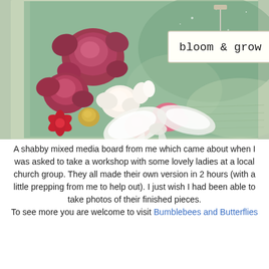[Figure (photo): A shabby chic mixed media decorative board with paper flowers (roses in dark red, pink, white, gold) arranged on the left, a white ribbon bow in the center, and a distressed green painted background. A white label in the upper center reads 'bloom & grow' in typewriter font.]
A shabby mixed media board from me which came about when I was asked to take a workshop with some lovely ladies at a local church group. They all made their own version in 2 hours (with a little prepping from me to help out). I just wish I had been able to take photos of their finished pieces.
To see more you are welcome to visit Bumblebees and Butterflies